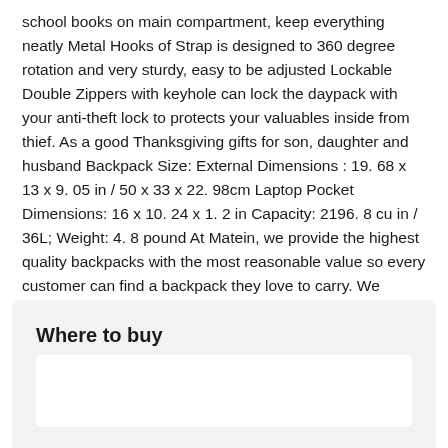school books on main compartment, keep everything neatly Metal Hooks of Strap is designed to 360 degree rotation and very sturdy, easy to be adjusted Lockable Double Zippers with keyhole can lock the daypack with your anti-theft lock to protects your valuables inside from thief. As a good Thanksgiving gifts for son, daughter and husband Backpack Size: External Dimensions : 19. 68 x 13 x 9. 05 in / 50 x 33 x 22. 98cm Laptop Pocket Dimensions: 16 x 10. 24 x 1. 2 in Capacity: 2196. 8 cu in / 36L; Weight: 4. 8 pound At Matein, we provide the highest quality backpacks with the most reasonable value so every customer can find a backpack they love to carry. We create products that inspire people to live their lives passionately; exploring, creating, and living life in the moment.
Where to buy